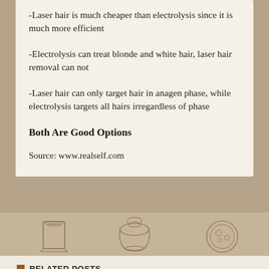-Laser hair is much cheaper than electrolysis since it is much more efficient
-Electrolysis can treat blonde and white hair, laser hair removal can not
-Laser hair can only target hair in anagen phase, while electrolysis targets all hairs irregardless of phase
Both Are Good Options
Source: www.realself.com
[Figure (illustration): Vintage botanical/anatomical sepia illustrations showing hair follicle structures]
RELATED POSTS